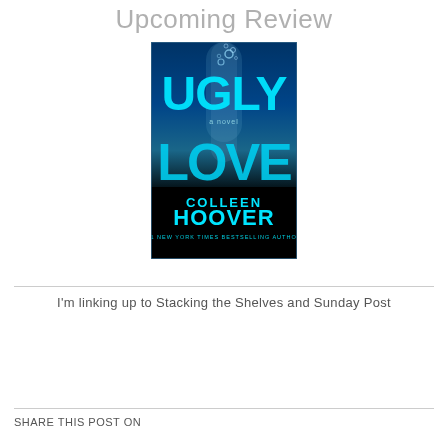Upcoming Review
[Figure (photo): Book cover of 'Ugly Love' by Colleen Hoover. Dark blue underwater scene with large cyan/teal text reading 'UGLY LOVE', with bubbles rising. Author name 'COLLEEN HOOVER' at bottom in cyan. Subtitle '#1 New York Times Bestselling Author'.]
I'm linking up to Stacking the Shelves and Sunday Post
SHARE THIS POST ON